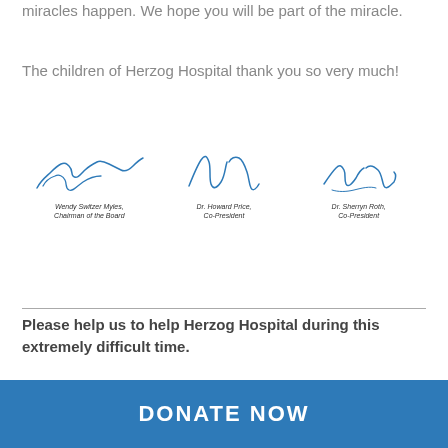miracles happen. We hope you will be part of the miracle.
The children of Herzog Hospital thank you so very much!
[Figure (illustration): Three handwritten signatures for Wendy Switzer Myles (Chairman of the Board), Dr. Howard Price (Co-President), and Dr. Sherryn Roth (Co-President)]
Please help us to help Herzog Hospital during this extremely difficult time.
DONATE NOW